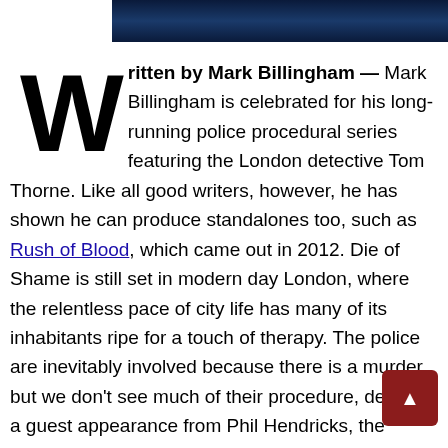[Figure (photo): Dark blue banner image at the top of the page]
Written by Mark Billingham — Mark Billingham is celebrated for his long-running police procedural series featuring the London detective Tom Thorne. Like all good writers, however, he has shown he can produce standalones too, such as Rush of Blood, which came out in 2012. Die of Shame is still set in modern day London, where the relentless pace of city life has many of its inhabitants ripe for a touch of therapy. The police are inevitably involved because there is a murder, but we don't see much of their procedure, despite a guest appearance from Phil Hendricks, the much-tattooed and liberally-pierced pathologist from the